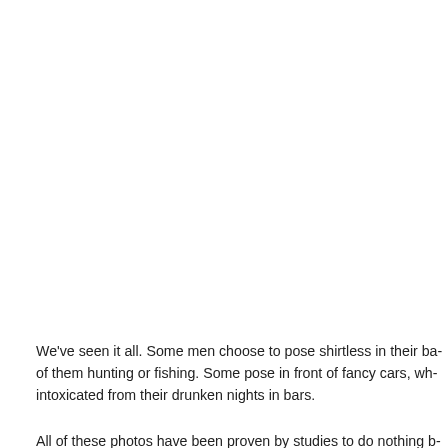We've seen it all. Some men choose to pose shirtless in their ba- of them hunting or fishing. Some pose in front of fancy cars, wh- intoxicated from their drunken nights in bars.
All of these photos have been proven by studies to do nothing b-